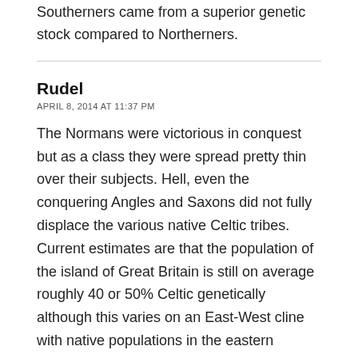Southerners came from a superior genetic stock compared to Northerners.
Rudel
APRIL 8, 2014 AT 11:37 PM
The Normans were victorious in conquest but as a class they were spread pretty thin over their subjects. Hell, even the conquering Angles and Saxons did not fully displace the various native Celtic tribes. Current estimates are that the population of the island of Great Britain is still on average roughly 40 or 50% Celtic genetically although this varies on an East-West cline with native populations in the eastern counties having more Germanic blood than those in Wales or Cornwall.
Capt John Charity Spring MA
APRIL 9, 2014 AT 12:55 AM